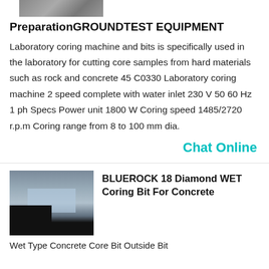[Figure (photo): Partial top image of laboratory equipment, cropped at top]
PreparationGROUNDTEST EQUIPMENT
Laboratory coring machine and bits is specifically used in the laboratory for cutting core samples from hard materials such as rock and concrete 45 C0330 Laboratory coring machine 2 speed complete with water inlet 230 V 50 60 Hz 1 ph Specs Power unit 1800 W Coring speed 1485/2720 r.p.m Coring range from 8 to 100 mm dia.
Chat Online
[Figure (photo): Photo collage of BLUEROCK 18 Diamond WET Coring Bit equipment, with industrial machinery and sky in background, dark overlay at bottom left]
BLUEROCK 18 Diamond WET Coring Bit For Concrete
Wet Type Concrete Core Bit Outside Bit